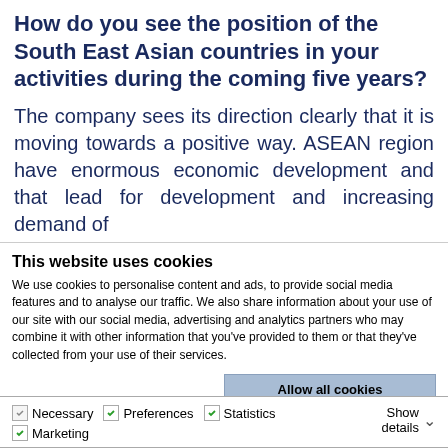How do you see the position of the South East Asian countries in your activities during the coming five years?
The company sees its direction clearly that it is moving towards a positive way. ASEAN region have enormous economic development and that lead for development and increasing demand of
This website uses cookies
We use cookies to personalise content and ads, to provide social media features and to analyse our traffic. We also share information about your use of our site with our social media, advertising and analytics partners who may combine it with other information that you've provided to them or that they've collected from your use of their services.
Allow all cookies
Allow selection
Use necessary cookies only
Necessary | Preferences | Statistics | Marketing | Show details